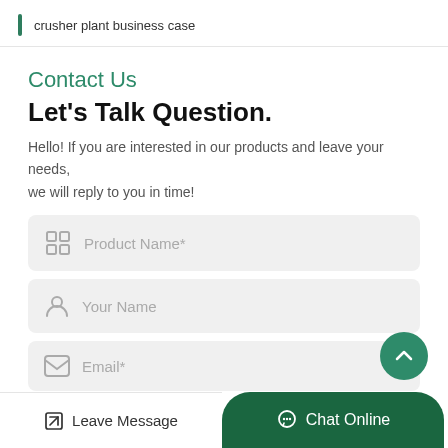crusher plant business case
Contact Us
Let's Talk Question.
Hello! If you are interested in our products and leave your needs, we will reply to you in time!
Product Name*
Your Name
Email*
Leave Message | Chat Online